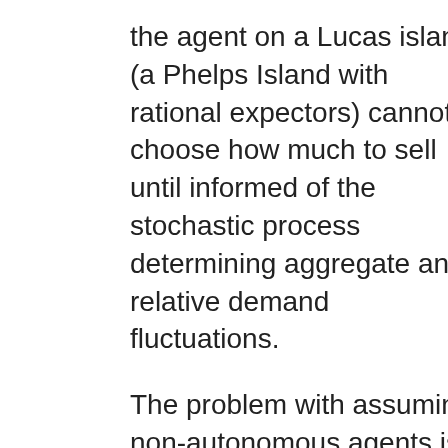the agent on a Lucas island (a Phelps Island with rational expectors) cannot choose how much to sell until informed of the stochastic process determining aggregate and relative demand fluctuations.
The problem with assuming non-autonomous agents is that it leaves the model